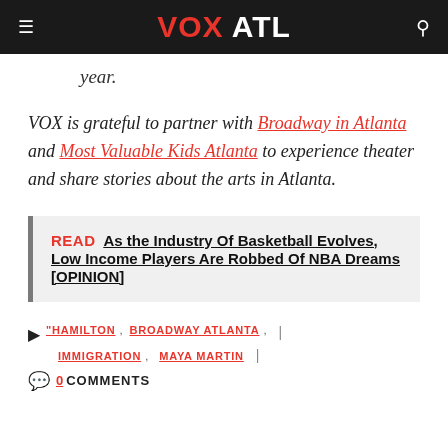VOX ATL
year.
VOX is grateful to partner with Broadway in Atlanta and Most Valuable Kids Atlanta to experience theater and share stories about the arts in Atlanta.
READ  As the Industry Of Basketball Evolves, Low Income Players Are Robbed Of NBA Dreams [OPINION]
"HAMILTON, BROADWAY ATLANTA, IMMIGRATION, MAYA MARTIN | 0 COMMENTS